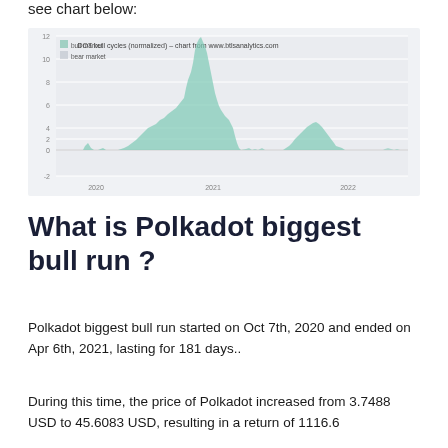see chart below:
[Figure (continuous-plot): DOT bull cycles (normalized) chart from www.btlsanalytics.com. Shows normalized price cycles from 2020 to 2022. Bull market periods shaded in teal/green. Large spike around early 2021 reaching approximately 10-11, then a smaller rally in late 2021 reaching about 3.5. Y-axis from -2 to 12, X-axis shows 2020, 2021, 2022.]
What is Polkadot biggest bull run ?
Polkadot biggest bull run started on Oct 7th, 2020 and ended on Apr 6th, 2021, lasting for 181 days..
During this time, the price of Polkadot increased from 3.7488 USD to 45.6083 USD, resulting in a return of 1116.6